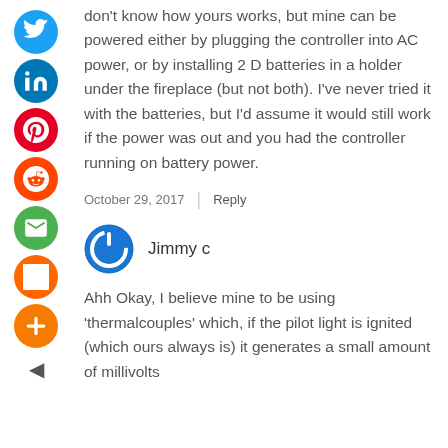don't know how yours works, but mine can be powered either by plugging the controller into AC power, or by installing 2 D batteries in a holder under the fireplace (but not both). I've never tried it with the batteries, but I'd assume it would still work if the power was out and you had the controller running on battery power.
October 29, 2017  |  Reply
Jimmy c
Ahh Okay, I believe mine to be using 'thermalcouples' which, if the pilot light is ignited (which ours always is) it generates a small amount of millivolts